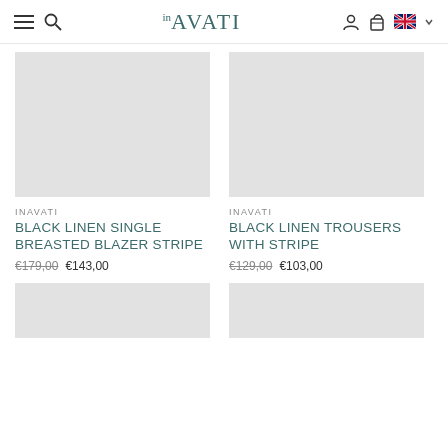inAVATI – Navigation header with hamburger menu, search, logo, user icon, cart icon, UK flag, dropdown
[Figure (photo): Placeholder product image for Black Linen Single Breasted Blazer Stripe (light grey rectangle)]
[Figure (photo): Placeholder product image for Black Linen Trousers With Stripe (light grey rectangle)]
INAVATI
BLACK LINEN SINGLE BREASTED BLAZER STRIPE
€179,00  €143,00
INAVATI
BLACK LINEN TROUSERS WITH STRIPE
€129,00  €103,00
[Figure (photo): Placeholder product image (bottom left, partially visible, light grey rectangle)]
[Figure (photo): Placeholder product image (bottom right, partially visible, light grey rectangle)]